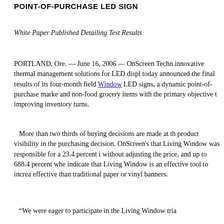POINT-OF-PURCHASE LED SIGN
White Paper Published Detailing Test Results
PORTLAND, Ore. — June 16, 2006 — OnScreen Techn innovative thermal management solutions for LED displ today announced the final results of its four-month field Window LED signs, a dynamic point-of-purchase marke and non-food grocery items with the primary objective t improving inventory turns.
More than two thirds of buying decisions are made at th product visibility in the purchasing decision. OnScreen's that Living Window was responsible for a 23.4 percent i without adjusting the price, and up to 688.4 percent whe indicate that Living Window is an effective tool to increa effective than traditional paper or vinyl banners.
“We were eager to participate in the Living Window tria